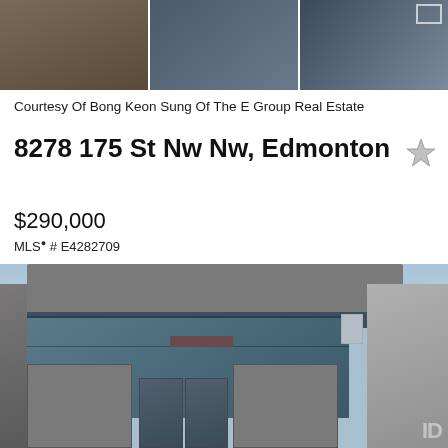[Figure (photo): Top strip of three property interior/exterior photos side by side]
Courtesy Of Bong Keon Sung Of The E Group Real Estate
8278 175 St Nw Nw, Edmonton
$290,000
MLS® # E4282709
[Figure (photo): Exterior photo of commercial building with glass facade and grey blurred signage]